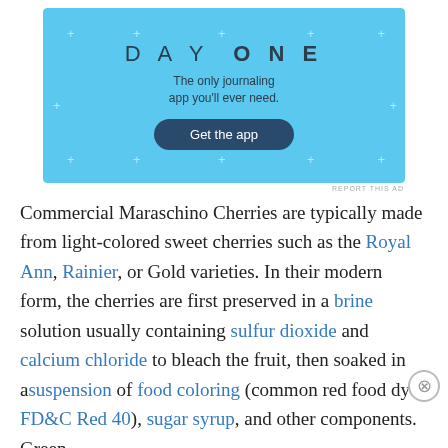[Figure (other): Day One journaling app advertisement banner with light blue background, title 'DAY ONE', tagline 'The only journaling app you'll ever need.' and a 'Get the app' button.]
REPORT THIS AD
Commercial Maraschino Cherries are typically made from light-colored sweet cherries such as the Royal Ann, Rainier, or Gold varieties. In their modern form, the cherries are first preserved in a brine solution usually containing sulfur dioxide and calcium chloride to bleach the fruit, then soaked in a suspension of food coloring (common red food dye, FD&C Red 40), sugar syrup, and other components. Green
Advertisements
[Figure (other): WordPress online course advertisement with dark background, tree/person icon, teal text 'Launch your online course with WordPress' and 'Learn More' button.]